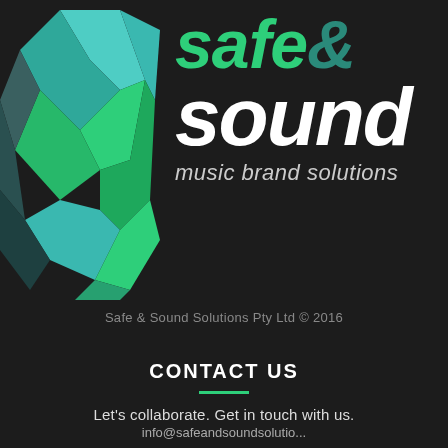[Figure (logo): Safe & Sound music brand solutions logo — geometric teal/green faceted arrow shape on left, with 'safe&' in green italic bold text and 'sound' in white italic bold text, and 'music brand solutions' tagline below]
Safe & Sound Solutions Pty Ltd © 2016
CONTACT US
Let's collaborate. Get in touch with us.
info@safeandsoundsolutions...